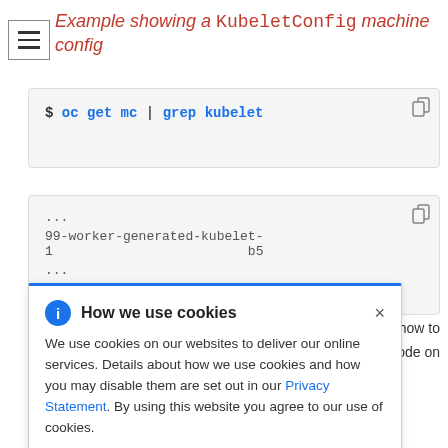Example showing a KubeletConfig machine config
$ oc get mc | grep kubelet
...
99-worker-generated-kubelet-1    b5...
...
How we use cookies — We use cookies on our websites to deliver our online services. Details about how we use cookies and how you may disable them are set out in our Privacy Statement. By using this website you agree to our use of cookies.
show how to
er node on
static
MachineConfigPool CR for the type of node